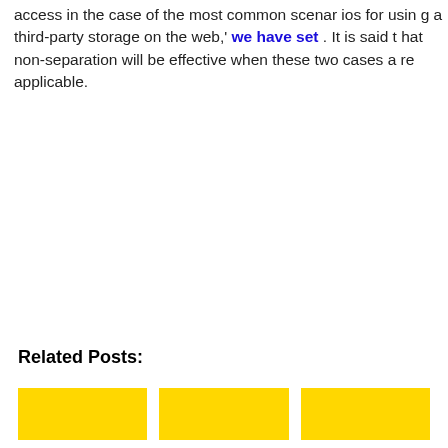access in the case of the most common scenarios for using a third-party storage on the web,' we have set . It is said that non-separation will be effective when these two cases are applicable.
Related Posts:
[Figure (other): Three yellow rectangular thumbnail boxes for related posts]